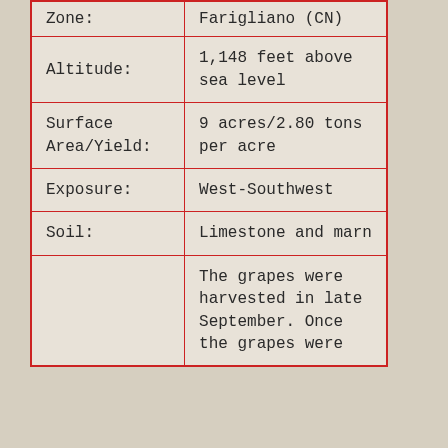| Zone: | Farigliano (CN) |
| Altitude: | 1,148 feet above sea level |
| Surface Area/Yield: | 9 acres/2.80 tons per acre |
| Exposure: | West-Southwest |
| Soil: | Limestone and marn |
|  | The grapes were harvested in late September. Once the grapes were |